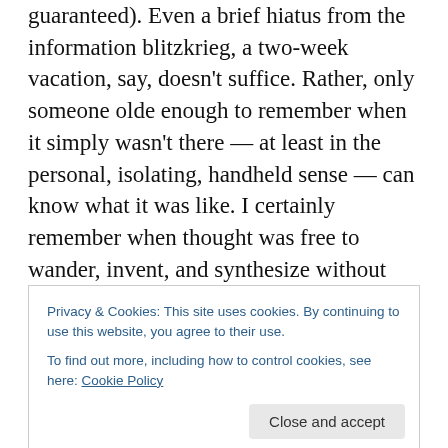guaranteed). Even a brief hiatus from the information blitzkrieg, a two-week vacation, say, doesn't suffice. Rather, only someone olde enough to remember when it simply wasn't there — at least in the personal, isolating, handheld sense — can know what it was like. I certainly remember when thought was free to wander, invent, and synthesize without pressure to incorporate a continuous stream of incoming electronic stimuli, most of which amounts to ephemera and marketing. I also remember when people weren't constantly walled in by their screens and feeds, when life experience was more social, shared,
Privacy & Cookies: This site uses cookies. By continuing to use this website, you agree to their use.
To find out more, including how to control cookies, see here: Cookie Policy
Close and accept
face planted in a phone or tablet for the fares, lies,